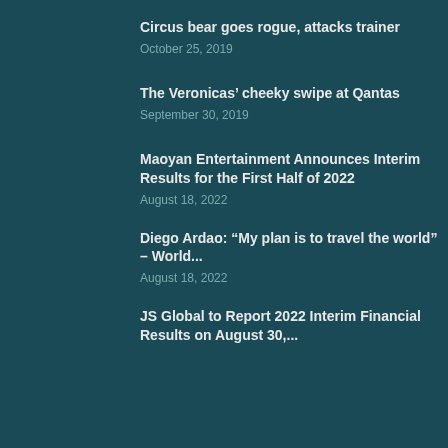Circus bear goes rogue, attacks trainer
October 25, 2019
The Veronicas’ cheeky swipe at Qantas
September 30, 2019
Maoyan Entertainment Announces Interim Results for the First Half of 2022
August 18, 2022
Diego Ardao: “My plan is to travel the world” – World...
August 18, 2022
JS Global to Report 2022 Interim Financial Results on August 30,...